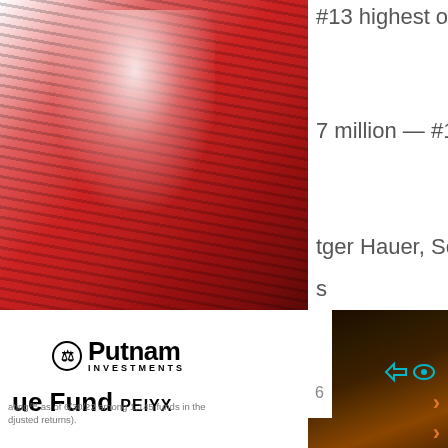[Figure (photo): Abstract red digital face/profile silhouette with horizontal red lines/streaks, AI-themed artwork]
#13 highest out
7 million – #157
tger Hauer, Sean
s
[Figure (photo): Dark abstract blurred image with orange/amber tones, possibly a financial or data visualization background]
[Figure (logo): Putnam Investments logo with scales of justice icon]
ue Fund PEIYX
ating™ as of 6/30/22 among 1,145 funds in the djusted returns).
›
›